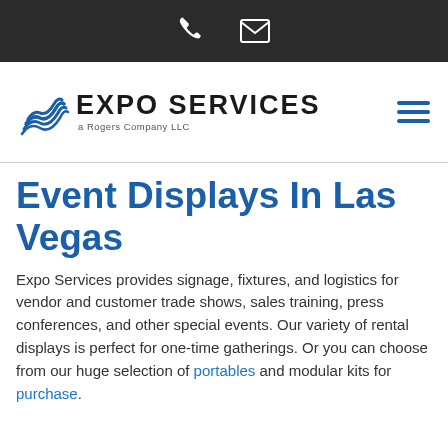[phone icon] [mail icon]
[Figure (logo): Expo Services logo with stylized blue wave/lines icon and text 'EXPO SERVICES a Rogers Company LLC', plus hamburger menu icon on the right]
Event Displays In Las Vegas
Expo Services provides signage, fixtures, and logistics for vendor and customer trade shows, sales training, press conferences, and other special events. Our variety of rental displays is perfect for one-time gatherings. Or you can choose from our huge selection of portables and modular kits for purchase.